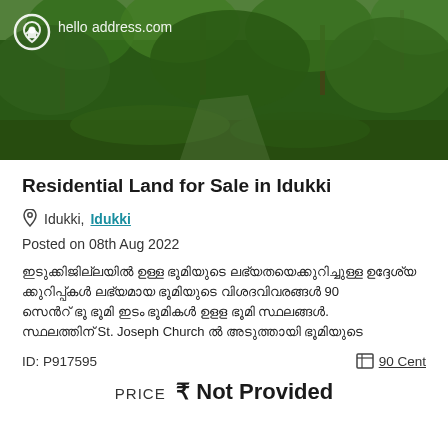[Figure (photo): Outdoor photo of green forested land with trees, taken from ground level, with helloaddress.com watermark logo in top left corner]
Residential Land for Sale in Idukki
Idukki, Idukki
Posted on 08th Aug 2022
Malayalam text description mentioning 90 cents land near St. Joseph Church
ID: P917595    90 Cent
PRICE ₹ Not Provided